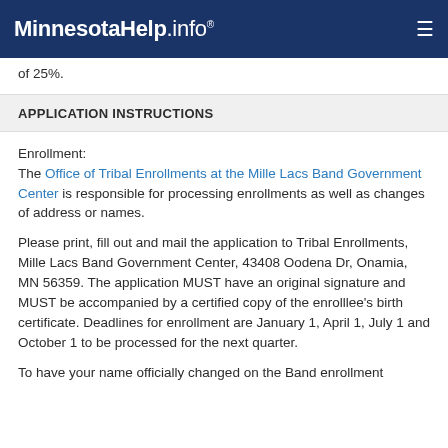MinnesotaHelp.info®
of 25%.
APPLICATION INSTRUCTIONS
Enrollment:
The Office of Tribal Enrollments at the Mille Lacs Band Government Center is responsible for processing enrollments as well as changes of address or names.
Please print, fill out and mail the application to Tribal Enrollments, Mille Lacs Band Government Center, 43408 Oodena Dr, Onamia, MN 56359. The application MUST have an original signature and MUST be accompanied by a certified copy of the enrollee's birth certificate. Deadlines for enrollment are January 1, April 1, July 1 and October 1 to be processed for the next quarter.
To have your name officially changed on the Band enrollment